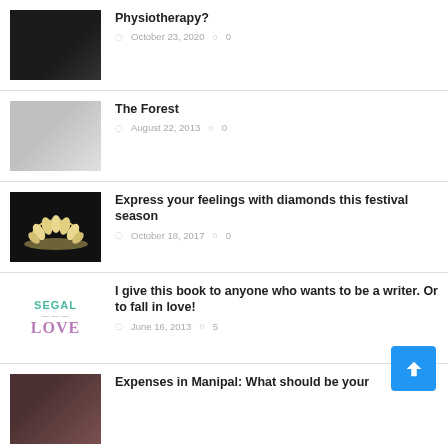Physiotherapy?  October 23, 2020  0
The Forest  August 22, 2013  0
Express your feelings with diamonds this festival season  October 18, 2017  0
I give this book to anyone who wants to be a writer. Or to fall in love!  June 16, 2013  5
Expenses in Manipal: What should be your